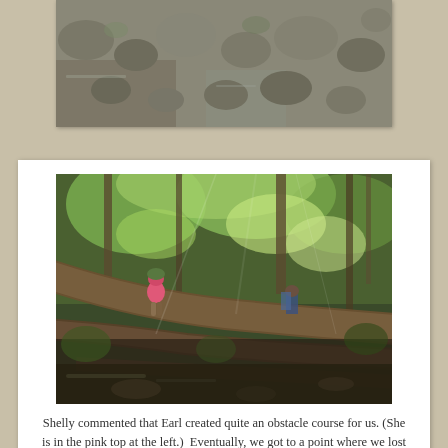[Figure (photo): Partially visible top photo showing rocks and stones, cropped at bottom of frame]
[Figure (photo): Forest trail scene with fallen trees forming an obstacle course. A person in a pink top is visible at the left climbing over downed trees. Another hiker is visible in the background. Dense tropical vegetation surrounds the scene.]
Shelly commented that Earl created quite an obstacle course for us. (She is in the pink top at the left.)  Eventually, we got to a point where we lost the trail. There were too many downed trees, so you couldn't see where the trail was supposed to go, and you couldn't see the next ribbon trail marker. So, we bailed and headed back.